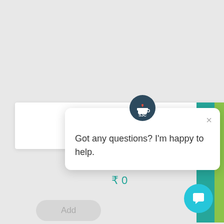[Figure (screenshot): Star rating showing 4 out of 5 stars filled in gold/yellow]
Capacity planning
₹ 0
Add
[Figure (screenshot): Green ticket strip with teal column and 'ort' text visible]
[Figure (screenshot): Chat support popup with SJC logo avatar and message 'Got any questions? I'm happy to help.' with close button]
Got any questions? I'm happy to help.
[Figure (screenshot): Teal circular chat button with speech bubble icon at bottom right]